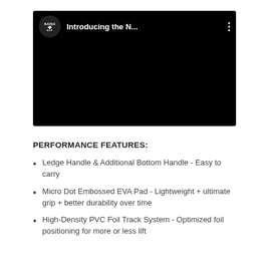[Figure (screenshot): YouTube-style video thumbnail for a Naish SUP video titled 'Introducing the N...' with a black background, Naish SUP circular channel icon, white title text, and three-dot menu icon]
PERFORMANCE FEATURES:
Ledge Handle & Additional Bottom Handle - Easy to carry
Micro Dot Embossed EVA Pad - Lightweight + ultimate grip + better durability over time
High-Density PVC Foil Track System - Optimized foil positioning for more or less lift